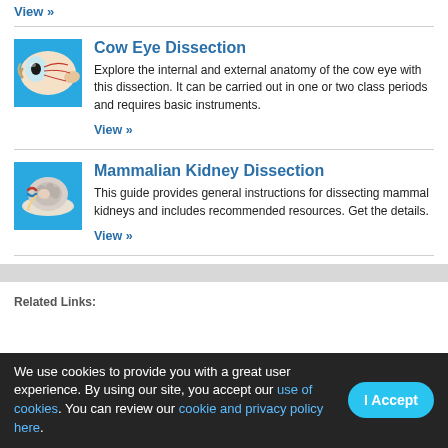View »
Cow Eye Dissection
Explore the internal and external anatomy of the cow eye with this dissection. It can be carried out in one or two class periods and requires basic instruments.
View »
Mammalian Kidney Dissection
This guide provides general instructions for dissecting mammal kidneys and includes recommended resources. Get the details.
View »
Related Links:
We use cookies to provide you with a great user experience. By using our site, you accept our use of cookies. You can review our cookie and privacy policy here.